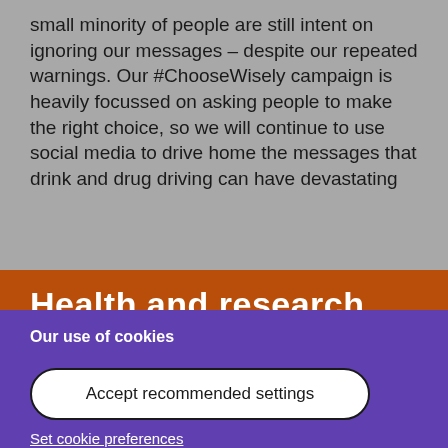small minority of people are still intent on ignoring our messages – despite our repeated warnings. Our #ChooseWisely campaign is heavily focussed on asking people to make the right choice, so we will continue to use social media to drive home the messages that drink and drug driving can have devastating
Health and research
Our use of cookies
We use cookies on this site to improve your visit and help our work to reduce alcohol harm. If you're okay with cookies, please accept the recommended settings.
Accept recommended settings
Set cookie preferences